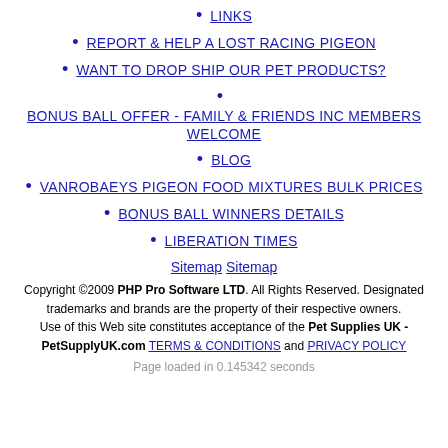LINKS
REPORT & HELP A LOST RACING PIGEON
WANT TO DROP SHIP OUR PET PRODUCTS?
BONUS BALL OFFER - FAMILY & FRIENDS INC MEMBERS WELCOME
BLOG
VANROBAEYS PIGEON FOOD MIXTURES BULK PRICES
BONUS BALL WINNERS DETAILS
LIBERATION TIMES
Sitemap Sitemap
Copyright ©2009 PHP Pro Software LTD. All Rights Reserved. Designated trademarks and brands are the property of their respective owners. Use of this Web site constitutes acceptance of the Pet Supplies UK - PetSupplyUK.com TERMS & CONDITIONS and PRIVACY POLICY
Page loaded in 0.145342 seconds